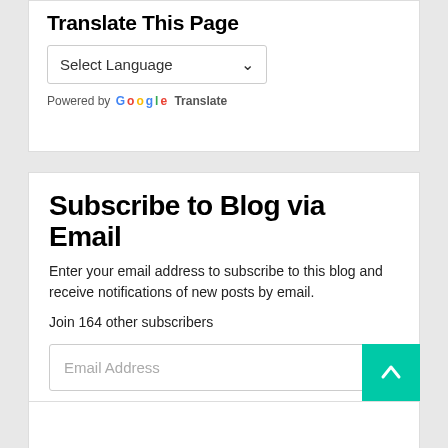Translate This Page
Select Language
Powered by Google Translate
Subscribe to Blog via Email
Enter your email address to subscribe to this blog and receive notifications of new posts by email.
Join 164 other subscribers
Email Address
Subscribe